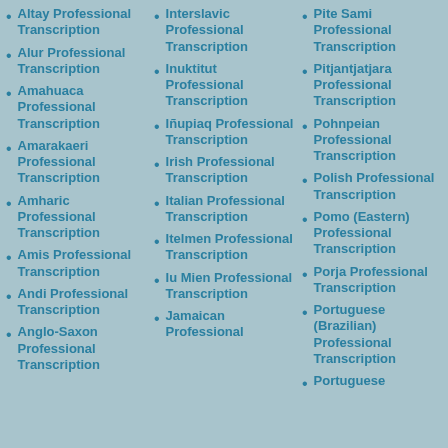Altay Professional Transcription
Alur Professional Transcription
Amahuaca Professional Transcription
Amarakaeri Professional Transcription
Amharic Professional Transcription
Amis Professional Transcription
Andi Professional Transcription
Anglo-Saxon Professional Transcription
Interslavic Professional Transcription
Inuktitut Professional Transcription
Iñupiaq Professional Transcription
Irish Professional Transcription
Italian Professional Transcription
Itelmen Professional Transcription
Iu Mien Professional Transcription
Jamaican Professional
Pite Sami Professional Transcription
Pitjantjatjara Professional Transcription
Pohnpeian Professional Transcription
Polish Professional Transcription
Pomo (Eastern) Professional Transcription
Porja Professional Transcription
Portuguese (Brazilian) Professional Transcription
Portuguese